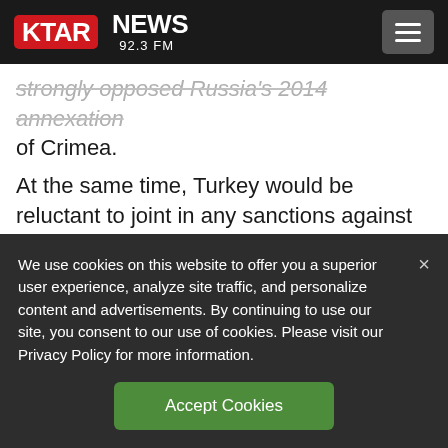KTAR NEWS 92.3 FM
strongly opposed Russia's 2014 annexation of Crimea.
At the same time, Turkey would be reluctant to joint in any sanctions against Russia. With a struggling economy, the country has
We use cookies on this website to offer you a superior user experience, analyze site traffic, and personalize content and advertisements. By continuing to use our site, you consent to our use of cookies. Please visit our Privacy Policy for more information.
Accept Cookies